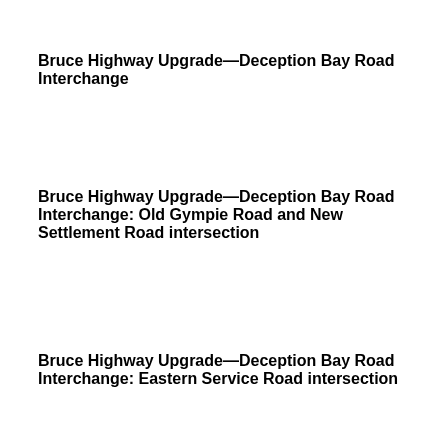Bruce Highway Upgrade—Deception Bay Road Interchange
Bruce Highway Upgrade—Deception Bay Road Interchange: Old Gympie Road and New Settlement Road intersection
Bruce Highway Upgrade—Deception Bay Road Interchange: Eastern Service Road intersection